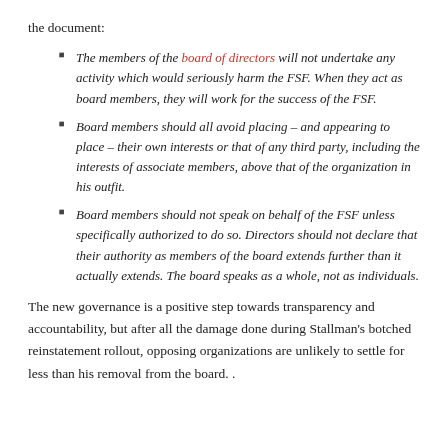the document:
The members of the board of directors will not undertake any activity which would seriously harm the FSF. When they act as board members, they will work for the success of the FSF.
Board members should all avoid placing – and appearing to place – their own interests or that of any third party, including the interests of associate members, above that of the organization in his outfit.
Board members should not speak on behalf of the FSF unless specifically authorized to do so. Directors should not declare that their authority as members of the board extends further than it actually extends. The board speaks as a whole, not as individuals.
The new governance is a positive step towards transparency and accountability, but after all the damage done during Stallman's botched reinstatement rollout, opposing organizations are unlikely to settle for less than his removal from the board. .